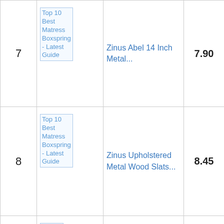| Rank | Image | Product | Score | Buy |
| --- | --- | --- | --- | --- |
| 7 | Top 10 Best Matress Boxspring - Latest Guide | Zinus Abel 14 Inch Metal... | 7.90 | Buy Ama |
| 8 | Top 10 Best Matress Boxspring - Latest Guide | Zinus Upholstered Metal Wood Slats... | 8.45 | Buy Ama |
| 9 | Top 10 Best | ZINUS 7 | 9.30 | Buy |